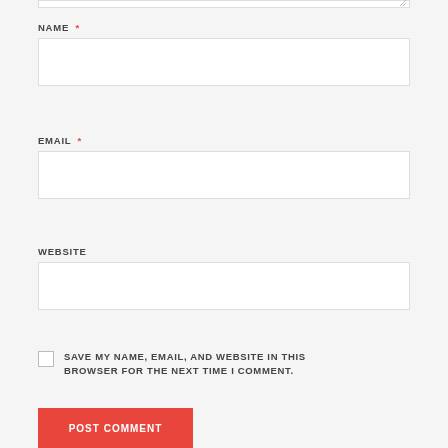NAME *
[Figure (other): Empty text input field for Name]
EMAIL *
[Figure (other): Empty text input field for Email]
WEBSITE
[Figure (other): Empty text input field for Website]
SAVE MY NAME, EMAIL, AND WEBSITE IN THIS BROWSER FOR THE NEXT TIME I COMMENT.
[Figure (other): POST COMMENT submit button in red]